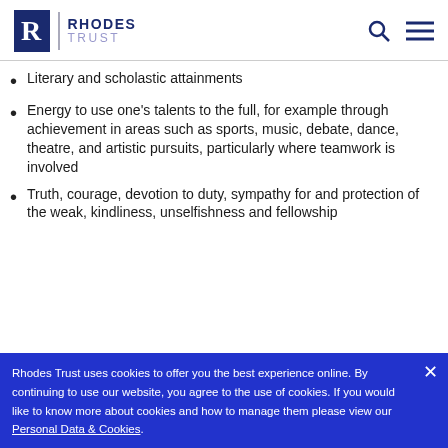RHODES TRUST
Literary and scholastic attainments
Energy to use one's talents to the full, for example through achievement in areas such as sports, music, debate, dance, theatre, and artistic pursuits, particularly where teamwork is involved
Truth, courage, devotion to duty, sympathy for and protection of the weak, kindliness, unselfishness and fellowship
Rhodes Trust uses cookies to offer you the best experience online. By continuing to use our website, you agree to the use of cookies. If you would like to know more about cookies and how to manage them please view our Personal Data & Cookies.